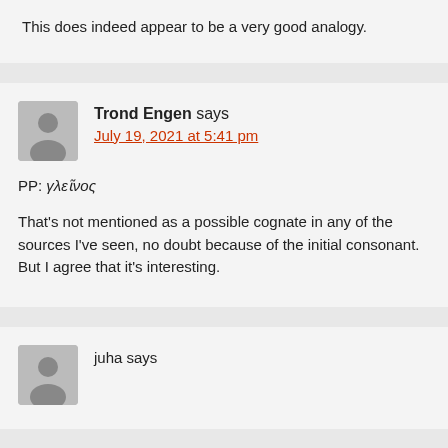This does indeed appear to be a very good analogy.
Trond Engen says
July 19, 2021 at 5:41 pm
PP: γλεῖνος
That's not mentioned as a possible cognate in any of the sources I've seen, no doubt because of the initial consonant. But I agree that it's interesting.
juha says